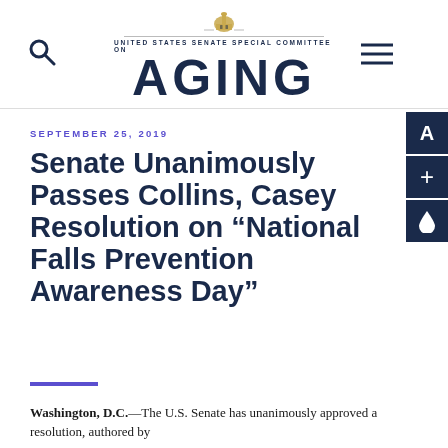UNITED STATES SENATE SPECIAL COMMITTEE ON AGING
SEPTEMBER 25, 2019
Senate Unanimously Passes Collins, Casey Resolution on “National Falls Prevention Awareness Day”
Washington, D.C.—The U.S. Senate has unanimously approved a resolution, authored by